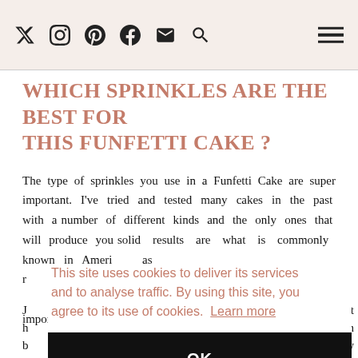Social media icons and navigation hamburger menu
WHICH SPRINKLES ARE THE BEST FOR THIS FUNFETTI CAKE ?
The type of sprinkles you use in a Funfetti Cake are super important. I've tried and tested many cakes in the past with a number of different kinds and the only ones that will produce you solid results are what is commonly known in America as ... Just ... British ... nbow ... ze the ... ən get ... ey are ... imported from America so you will be paying the cost of that ...
This site uses cookies to deliver its services and to analyse traffic. By using this site, you agree to its use of cookies. Learn more
OK